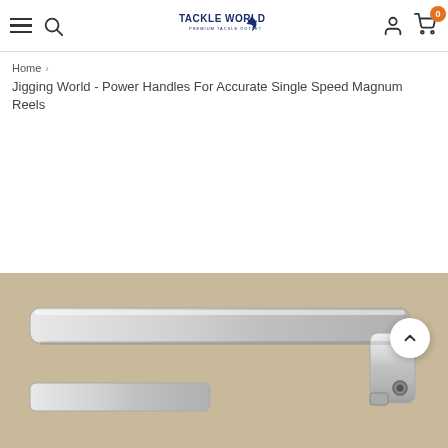Tackle World - Premium Tackle Outlet | Navigation header with hamburger menu, search, logo, user account, and cart (0 items)
Home > Jigging World - Power Handles For Accurate Single Speed Magnum Reels
[Figure (photo): Partial view of a silver/chrome metal power handle for a fishing reel, showing a curved ergonomic bar shape with mounting hardware, on a beige/tan background.]